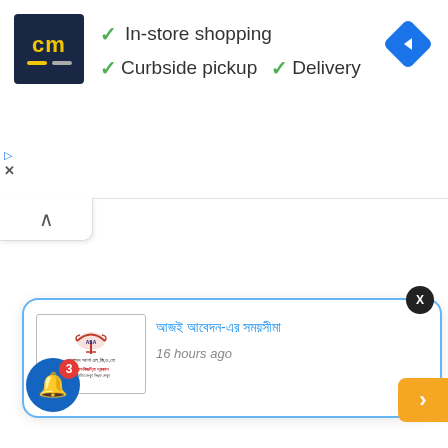[Figure (screenshot): Ad banner with CM logo, checkmarks for In-store shopping, Curbside pickup, Delivery, and a navigation diamond icon. Includes play and close controls.]
[Figure (screenshot): Collapse/chevron button below the ad banner]
In-store shopping
Curbside pickup
Delivery
[Figure (screenshot): Notification popup with ASA logo image, Bengali text title in blue, and '16 hours ago' timestamp. Has a close X button. Bell notification icon with badge count 3 at bottom left.]